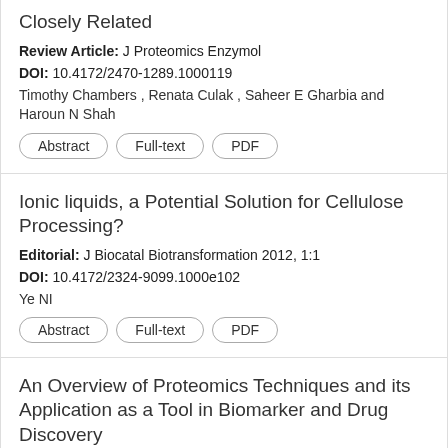Closely Related
Review Article: J Proteomics Enzymol
DOI: 10.4172/2470-1289.1000119
Timothy Chambers , Renata Culak , Saheer E Gharbia and Haroun N Shah
Ionic liquids, a Potential Solution for Cellulose Processing?
Editorial: J Biocatal Biotransformation 2012, 1:1
DOI: 10.4172/2324-9099.1000e102
Ye NI
An Overview of Proteomics Techniques and its Application as a Tool in Biomarker and Drug Discovery
Review Article: J Proteomics Enzymol 2017, 6:1
DOI: 10.4172/2470-1289.1000129
Roopesh Krishnankutty, Ajaz A Bhat, Asfar S Azmi, Serhiy